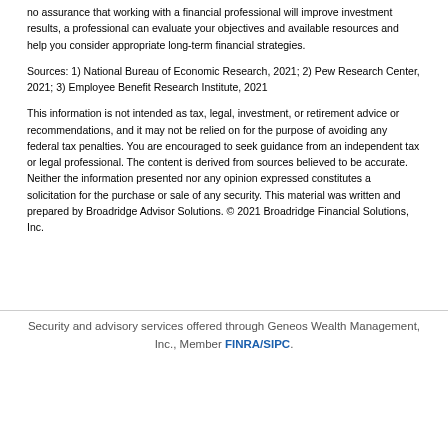no assurance that working with a financial professional will improve investment results, a professional can evaluate your objectives and available resources and help you consider appropriate long-term financial strategies.
Sources: 1) National Bureau of Economic Research, 2021; 2) Pew Research Center, 2021; 3) Employee Benefit Research Institute, 2021
This information is not intended as tax, legal, investment, or retirement advice or recommendations, and it may not be relied on for the purpose of avoiding any federal tax penalties. You are encouraged to seek guidance from an independent tax or legal professional. The content is derived from sources believed to be accurate. Neither the information presented nor any opinion expressed constitutes a solicitation for the purchase or sale of any security. This material was written and prepared by Broadridge Advisor Solutions. © 2021 Broadridge Financial Solutions, Inc.
Security and advisory services offered through Geneos Wealth Management, Inc., Member FINRA/SIPC.